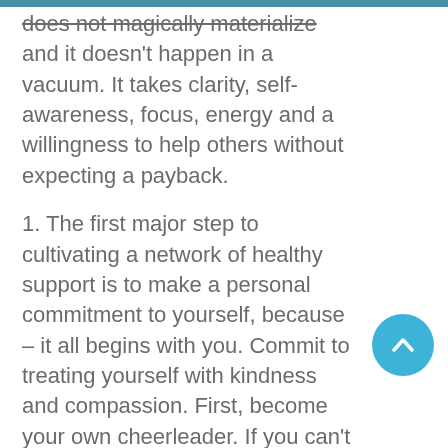does not magically materialize and it doesn't happen in a vacuum. It takes clarity, self-awareness, focus, energy and a willingness to help others without expecting a payback.
1. The first major step to cultivating a network of healthy support is to make a personal commitment to yourself, because – it all begins with you. Commit to treating yourself with kindness and compassion. First, become your own cheerleader. If you can't do it for yourself, why would anyone else want to jump on your band wagon?
2. Define your own needs, limits